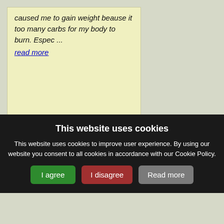caused me to gain weight beause it too many carbs for my body to burn. Espec ...
read more
CureZone Newsletter is distributed in partnership with https://www.netatlantic.com
This website uses cookies
This website uses cookies to improve user experience. By using our website you consent to all cookies in accordance with our Cookie Policy.
I agree | I disagree | Read more